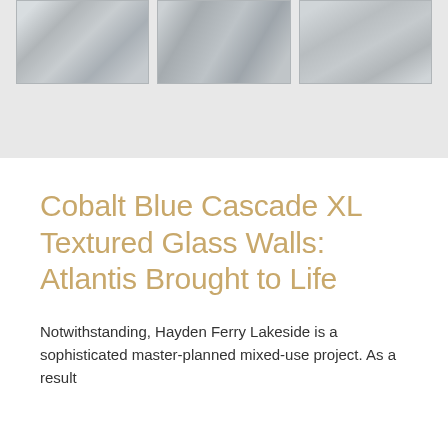[Figure (photo): Three panels of textured glass shown in a row against a light grey background. Left panel shows layered/stacked glass texture, middle panel shows a wavy/woven glass texture, right panel shows a flat glass panel edge-on.]
Cobalt Blue Cascade XL Textured Glass Walls: Atlantis Brought to Life
Notwithstanding, Hayden Ferry Lakeside is a sophisticated master-planned mixed-use project. As a result